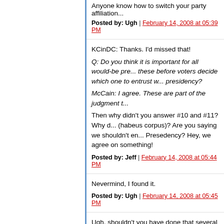Anyone know how to switch your party affiliation...
Posted by: Ugh | February 14, 2008 at 05:39 PM
KCinDC: Thanks. I'd missed that!
Q: Do you think it is important for all would-be presidents to release these before voters decide which one to entrust with the presidency?
McCain: I agree. These are part of the judgment t...
Then why didn't you answer #10 and #11? Why d... (habeus corpus)? Are you saying we shouldn't en... Presedency? Hey, we agree on something!
Posted by: Jeff | February 14, 2008 at 05:44 PM
Nevermind, I found it.
Posted by: Ugh | February 14, 2008 at 05:45 PM
Ugh, shouldn't you have done that several weeks...
Posted by: KCinDC | February 14, 2008 at 05:55 PM